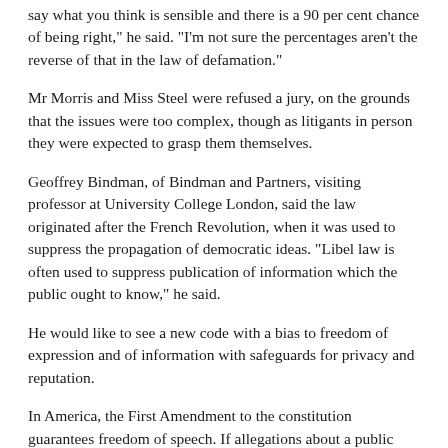say what you think is sensible and there is a 90 per cent chance of being right," he said. "I'm not sure the percentages aren't the reverse of that in the law of defamation."
Mr Morris and Miss Steel were refused a jury, on the grounds that the issues were too complex, though as litigants in person they were expected to grasp them themselves.
Geoffrey Bindman, of Bindman and Partners, visiting professor at University College London, said the law originated after the French Revolution, when it was used to suppress the propagation of democratic ideas. "Libel law is often used to suppress publication of information which the public ought to know," he said.
He would like to see a new code with a bias to freedom of expression and of information with safeguards for privacy and reputation.
In America, the First Amendment to the constitution guarantees freedom of speech. If allegations about a public company deal with issues of public concern, it is hard to get damages.
The company must prove allegations to be false, whereas in Britain the defendant has to prove they are true.
Mr Bindman believes that it would be wrong to duplicate